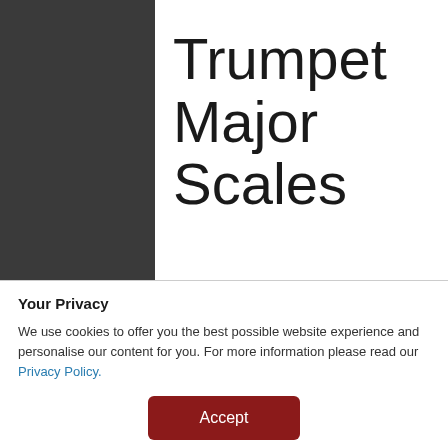Trumpet Major Scales
[Figure (photo): Children in blue uniforms sitting on a gymnasium floor in a circle listening to a presenter standing at the right side of the room, with gym equipment visible on the wall in the background.]
Your Privacy
We use cookies to offer you the best possible website experience and personalise our content for you. For more information please read our Privacy Policy.
Accept